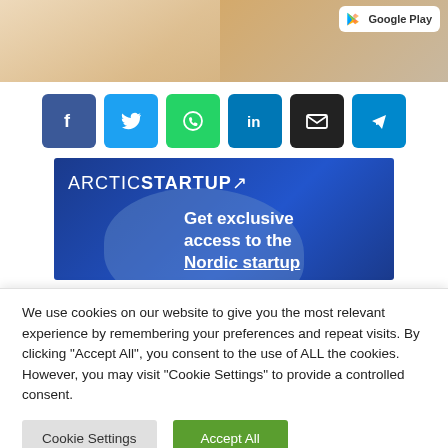[Figure (photo): Top partial image showing a woman with blonde hair, with a Google Play badge in the top right corner]
[Figure (infographic): Row of social sharing buttons: Facebook (blue, f), Twitter (cyan, bird), WhatsApp (green, phone), LinkedIn (blue, in), Email (black, envelope), Telegram (cyan, paper plane)]
[Figure (infographic): ArcticStartup banner advertisement with blue background showing 'Get exclusive access to the Nordic startup' text]
We use cookies on our website to give you the most relevant experience by remembering your preferences and repeat visits. By clicking "Accept All", you consent to the use of ALL the cookies. However, you may visit "Cookie Settings" to provide a controlled consent.
Cookie Settings | Accept All